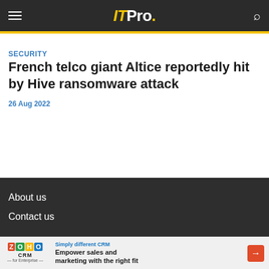IT Pro.
27 Aug 2022
SECURITY
French telco giant Altice reportedly hit by Hive ransomware attack
26 Aug 2022
About us
Contact us
[Figure (other): Zoho CRM advertisement banner: Simply different CRM. Empower sales and marketing with the right fit.]